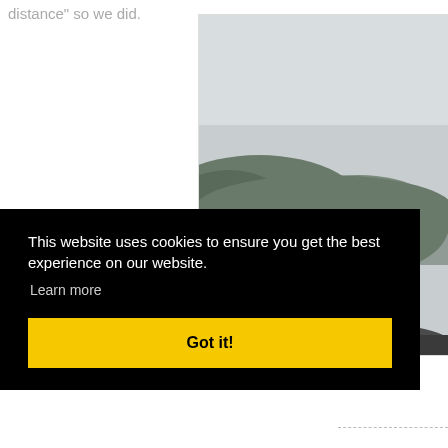distance" so we did.
[Figure (photo): Black and white photograph of a couple (man and woman) sitting outdoors with a forested hillside in the background. The woman is smiling and wearing glasses.]
This website uses cookies to ensure you get the best experience on our website.
Learn more
Got it!